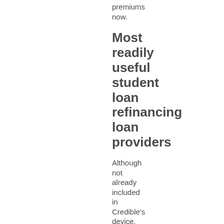premiums now.
Most readily useful student loan refinancing loan providers
Although not already included in Credible's device, SoFi and